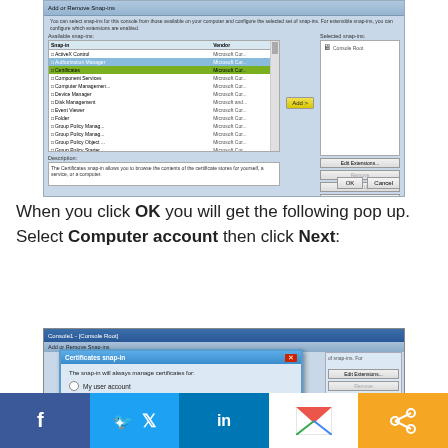[Figure (screenshot): Windows Add/Remove Snap-ins dialog showing list of snap-ins with Certificates highlighted in green, Console Root in selected snap-ins panel, and various control buttons]
When you click OK you will get the following pop up. Select Computer account then click Next:
[Figure (screenshot): Certificates snap-in dialog window showing radio button options: My user account, Service account, and Computer account selected/highlighted in yellow]